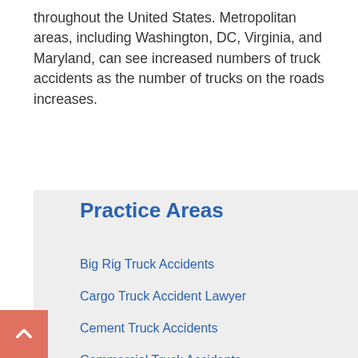throughout the United States. Metropolitan areas, including Washington, DC, Virginia, and Maryland, can see increased numbers of truck accidents as the number of trucks on the roads increases.
Practice Areas
Big Rig Truck Accidents
Cargo Truck Accident Lawyer
Cement Truck Accidents
Commercial Truck Accidents